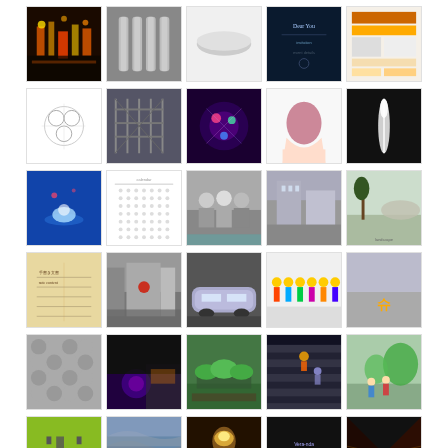[Figure (photo): Grid of thumbnail photos/images arranged in rows of 5, showing various subjects including city night scenes, abstract art, landscapes, people, objects, and graphic designs. 8 rows visible, approximately 35-37 thumbnails total.]